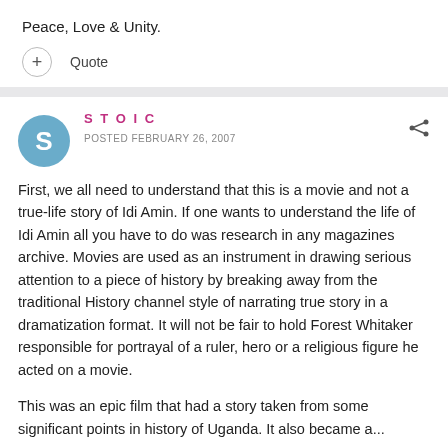Peace, Love & Unity.
+ Quote
STOIC
POSTED FEBRUARY 26, 2007
First, we all need to understand that this is a movie and not a true-life story of Idi Amin. If one wants to understand the life of Idi Amin all you have to do was research in any magazines archive. Movies are used as an instrument in drawing serious attention to a piece of history by breaking away from the traditional History channel style of narrating true story in a dramatization format. It will not be fair to hold Forest Whitaker responsible for portrayal of a ruler, hero or a religious figure he acted on a movie.
This was an epic film that had a story taken from some significant points in history of Uganda. It also became a...